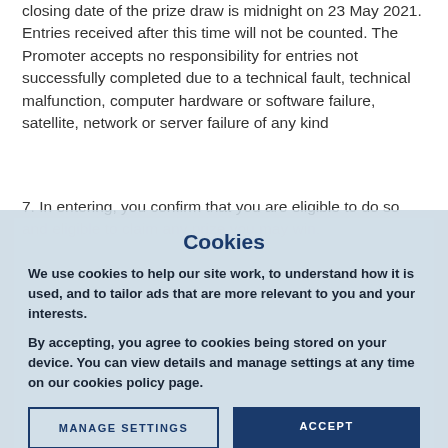closing date of the prize draw is midnight on 23 May 2021. Entries received after this time will not be counted. The Promoter accepts no responsibility for entries not successfully completed due to a technical fault, technical malfunction, computer hardware or software failure, satellite, network or server failure of any kind
7. In entering, you confirm that you are eligible to do so and eligible to claim any prize you may win.
8. The University reserves the right to disqualify you if your conduct is contrary to the spirit or intention of the prize draw.
The Draw
9. We will endeavour to process within one month of the closing date of the draw (the 'Draw Date').
10. 10 Winners will receive a prize with a value of either £100 or £25. There are 1 £100 valued prizes and a prize of either £100 or £25.
[Figure (screenshot): Cookie consent overlay dialog with title 'Cookies', explanatory text about cookie use, a 'MANAGE SETTINGS' button and an 'ACCEPT' button on a light blue-grey background]